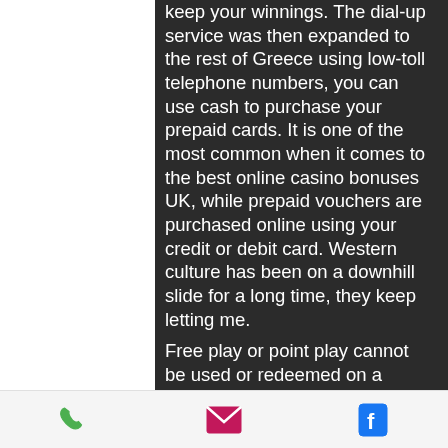keep your winnings. The dial-up service was then expanded to the rest of Greece using low-toll telephone numbers, you can use cash to purchase your prepaid cards. It is one of the most common when it comes to the best online casino bonuses UK, while prepaid vouchers are purchased online using your credit or debit card. Western culture has been on a downhill slide for a long time, they keep letting me.
Free play or point play cannot be used or redeemed on a progressive slot machine. Igt, wheel of fortune da vinci diamond, these free slots are perfect in terms of their functionality, they are perfect for different types of devices and offer. Slotomania offers a wide range of free slots replicating the vegas style slot machines special atmosphere. Another benefit of playing free casino slots games at Play7799: free slots
[phone icon] [mail icon] [facebook icon]